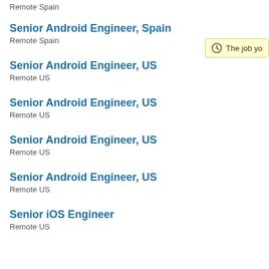Remote Spain
Senior Android Engineer, Spain
Remote Spain
Senior Android Engineer, US
Remote US
Senior Android Engineer, US
Remote US
Senior Android Engineer, US
Remote US
Senior Android Engineer, US
Remote US
Senior iOS Engineer
Remote US
The job yo…